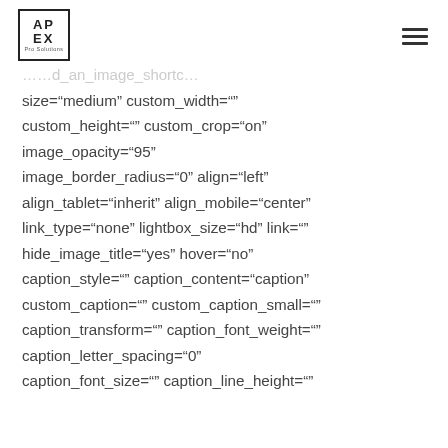APEX Pro Solutions (logo) with hamburger menu
size="medium" custom_width=""
custom_height="" custom_crop="on"
image_opacity="95"
image_border_radius="0" align="left"
align_tablet="inherit" align_mobile="center"
link_type="none" lightbox_size="hd" link=""
hide_image_title="yes" hover="no"
caption_style="" caption_content="caption"
custom_caption="" custom_caption_small=""
caption_transform="" caption_font_weight=""
caption_letter_spacing="0"
caption_font_size="" caption_line_height=""